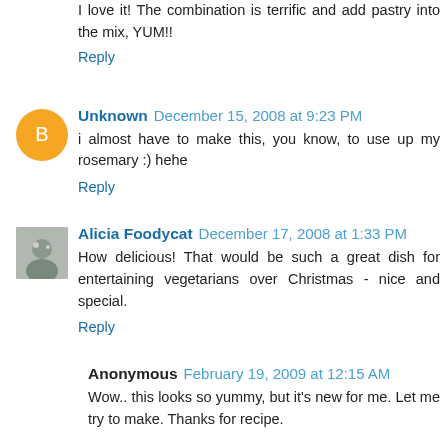I love it! The combination is terrific and add pastry into the mix, YUM!!
Reply
Unknown December 15, 2008 at 9:23 PM
i almost have to make this, you know, to use up my rosemary :) hehe
Reply
Alicia Foodycat December 17, 2008 at 1:33 PM
How delicious! That would be such a great dish for entertaining vegetarians over Christmas - nice and special.
Reply
Anonymous February 19, 2009 at 12:15 AM
Wow.. this looks so yummy, but it's new for me. Let me try to make. Thanks for recipe.